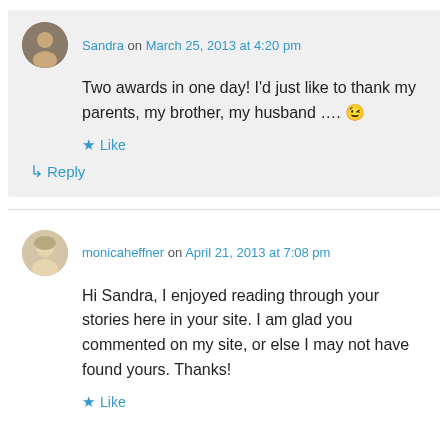Sandra on March 25, 2013 at 4:20 pm
Two awards in one day! I'd just like to thank my parents, my brother, my husband …. 😉
Like
Reply
monicaheffner on April 21, 2013 at 7:08 pm
Hi Sandra, I enjoyed reading through your stories here in your site. I am glad you commented on my site, or else I may not have found yours. Thanks!
Like